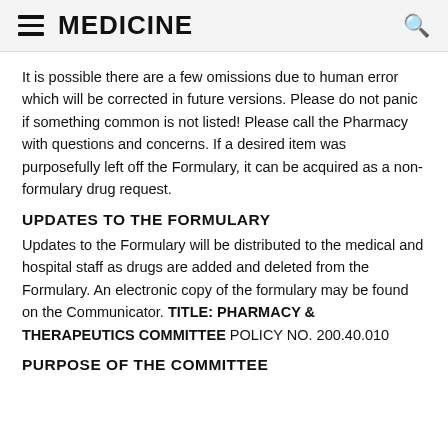MEDICINE
It is possible there are a few omissions due to human error which will be corrected in future versions. Please do not panic if something common is not listed! Please call the Pharmacy with questions and concerns. If a desired item was purposefully left off the Formulary, it can be acquired as a non-formulary drug request.
UPDATES TO THE FORMULARY
Updates to the Formulary will be distributed to the medical and hospital staff as drugs are added and deleted from the Formulary. An electronic copy of the formulary may be found on the Communicator. TITLE: PHARMACY & THERAPEUTICS COMMITTEE POLICY NO. 200.40.010
PURPOSE OF THE COMMITTEE